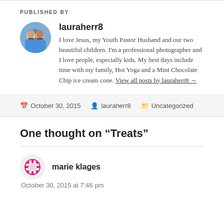PUBLISHED BY
lauraherr8
I love Jesus, my Youth Pastor Husband and our two beautiful children. I'm a professional photographer and I love people, especially kids. My best days include time with my family, Hot Yoga and a Mint Chocolate Chip ice cream cone. View all posts by lauraherr8 →
October 30, 2015   lauraherr8   Uncategorized
One thought on “Treats”
marie klages
October 30, 2015 at 7:46 pm